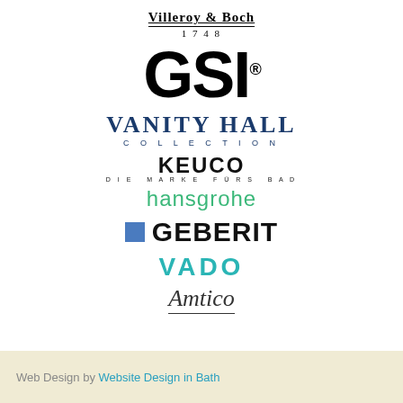[Figure (logo): Villeroy & Boch 1748 logo]
[Figure (logo): GSI logo in large bold black text with registered trademark symbol]
[Figure (logo): Vanity Hall Collection logo in dark blue serif font with decorative swash]
[Figure (logo): KEUCO DIE MARKE FURS BAD logo in black sans-serif]
[Figure (logo): hansgrohe logo in green lowercase text]
[Figure (logo): GEBERIT logo with blue square icon and bold black uppercase text]
[Figure (logo): VADO logo in teal uppercase bold letters]
[Figure (logo): Amtico logo in italic serif font with underline]
Web Design by Website Design in Bath